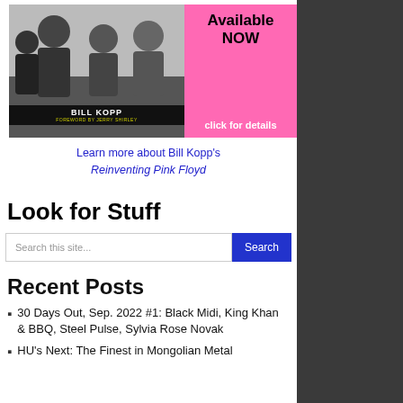[Figure (photo): Pink banner advertisement with a black-and-white photo of four musicians on the left side with 'BILL KOPP / FOREWORD BY JERRY SHIRLEY' label, and pink background on the right with text 'Available NOW' and 'click for details']
Learn more about Bill Kopp's
Reinventing Pink Floyd
Look for Stuff
Search this site...
Recent Posts
30 Days Out, Sep. 2022 #1: Black Midi, King Khan & BBQ, Steel Pulse, Sylvia Rose Novak
HU's Next: The Finest in Mongolian Metal